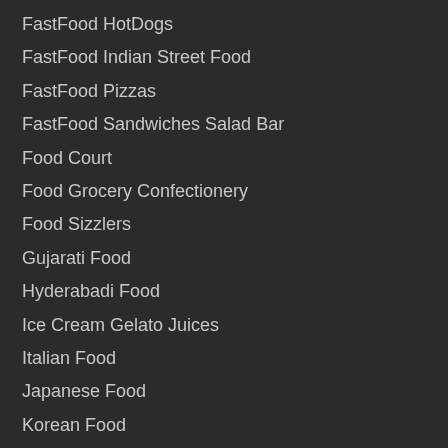FastFood HotDogs
FastFood Indian Street Food
FastFood Pizzas
FastFood Sandwiches Salad Bar
Food Court
Food Grocery Confectionery
Food Sizzlers
Gujarati Food
Hyderabadi Food
Ice Cream Gelato Juices
Italian Food
Japanese Food
Korean Food
Lebanese Food
Mediterranean Food